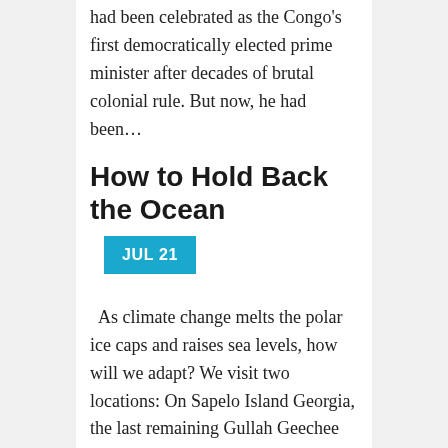had been celebrated as the Congo's first democratically elected prime minister after decades of brutal colonial rule. But now, he had been…
How to Hold Back the Ocean
JUL 21
As climate change melts the polar ice caps and raises sea levels, how will we adapt? We visit two locations: On Sapelo Island Georgia, the last remaining Gullah Geechee community fights to save their ancestral lands from the flood…